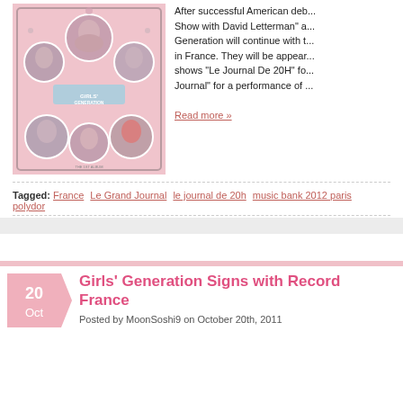[Figure (illustration): Girls' Generation album cover with circular portraits of group members on ornate pink background]
After successful American deb... Show with David Letterman" a... Generation will continue with t... in France. They will be appear... shows "Le Journal De 20H" fo... Journal" for a performance of ...
Read more »
Tagged: France Le Grand Journal le journal de 20h music bank 2012 paris polydor
Girls' Generation Signs with Record France
Posted by MoonSoshi9 on October 20th, 2011